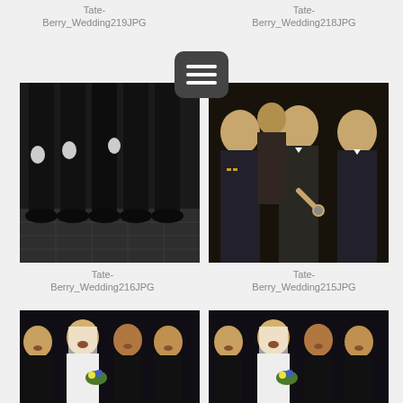Tate-
Berry_Wedding219JPG
Tate-
Berry_Wedding218JPG
[Figure (photo): Black and white photo of groomsmen in tuxedos, lower body view showing legs and hands]
[Figure (photo): Color photo of men in formal attire and military uniforms at a wedding reception]
Tate-
Berry_Wedding216JPG
Tate-
Berry_Wedding215JPG
[Figure (photo): Color photo of bride with bridesmaids in black dresses holding flowers, laughing]
[Figure (photo): Color photo of bride with bridesmaids in black dresses holding flowers, similar shot]